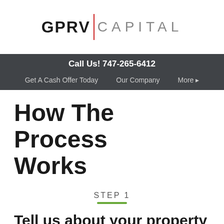[Figure (logo): GPRV Capital logo with bold GPRV text, red vertical divider, and grey CAPITAL text]
Call Us! 747-265-6412
Get A Cash Offer Today   Our Company   More ▸
How The Process Works
STEP 1
Tell us about your property –